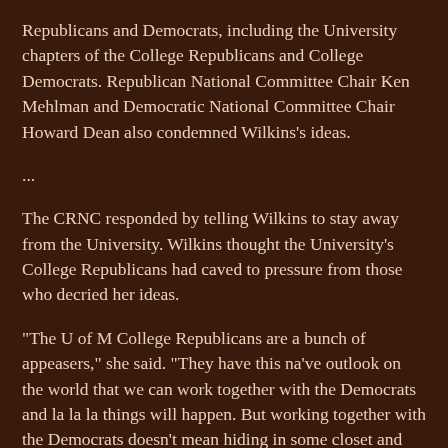Republicans and Democrats, including the University chapters of the College Republicans and College Democrats. Republican National Committee Chair Ken Mehlman and Democratic National Committee Chair Howard Dean also condemned Wilkins's ideas.
...
The CRNC responded by telling Wilkins to stay away from the University. Wilkins thought the University's College Republicans had caved to pressure from those who decried her ideas.
"The U of M College Republicans are a bunch of appeasers," she said. "They have this na've outlook on the world that we can work together with the Democrats and la la la things will happen. But working together with the Democrats doesn't mean hiding in some closet and not offending anybody. That's not what we do."